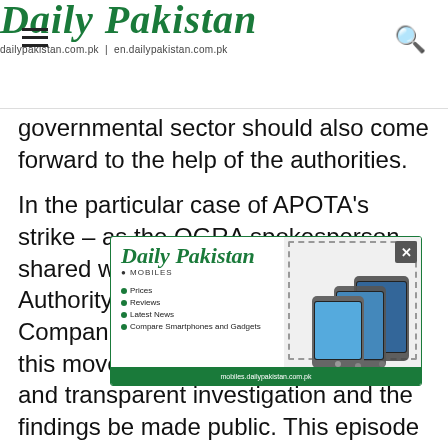Daily Pakistan | dailypakistan.com.pk | en.dailypakistan.com.pk
governmental sector should also come forward to the help of the authorities.
In the particular case of APOTA's strike – as the OGRA spokesperson shared with the media that the Authority suspected Oil Marketing Companies (OMCs) of being behind this move – there must be a thorough and transparent investigation and the findings be made public. This episode has a background: in no c... respo... Ahmo... way with a...
[Figure (advertisement): Daily Pakistan Mobiles advertisement overlay showing logo, bullet points for Prices, Reviews, Latest News, Compare Smartphones and Gadgets, and phone images on the right side. Footer shows mobiles.dailypakistan.com.pk]